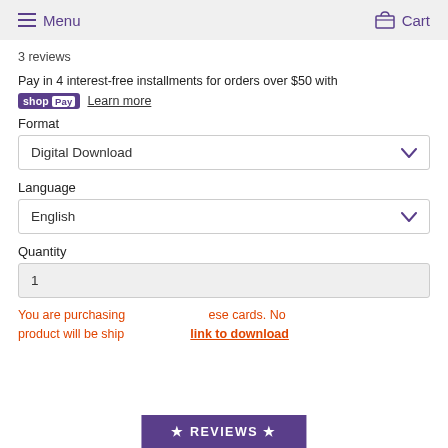Menu  Cart
3 reviews
Pay in 4 interest-free installments for orders over $50 with shop Pay  Learn more
Format
Digital Download
Language
English
Quantity
1
You are purchasing these cards. No product will be ship link to download